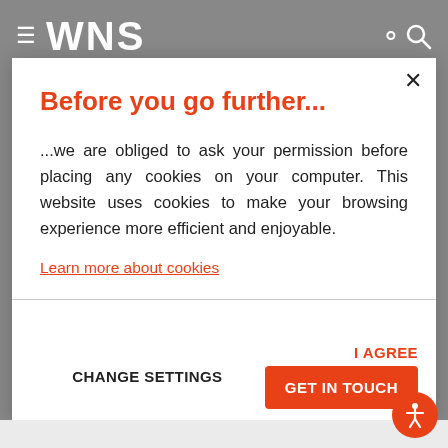WNS
Before you go further...
...we are obliged to ask your permission before placing any cookies on your computer. This website uses cookies to make your browsing experience more efficient and enjoyable.
Learn more about cookies
CHANGE SETTINGS
I AGREE
GET IN TOUCH